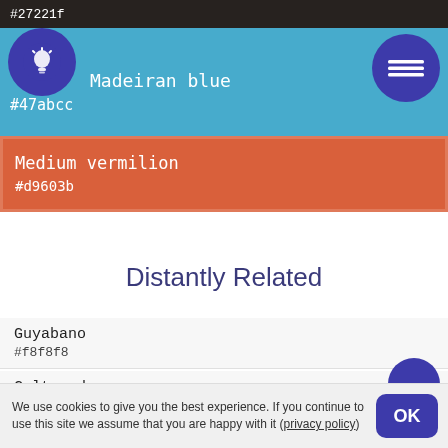#27221f
Madeiran blue
#47abcc
Medium vermilion
#d9603b
Distantly Related
Guyabano
#f8f8f8
Cultured
#f5f5f5
Lotion
#fefdfa
Baby powder
#fefefa
We use cookies to give you the best experience. If you continue to use this site we assume that you are happy with it (privacy policy)